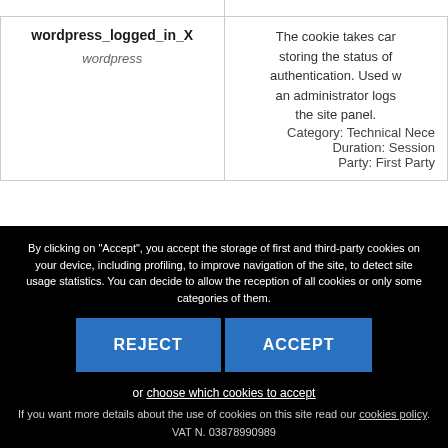| Cookie Name / Provider | Description |
| --- | --- |
| wordpress_logged_in_X
wordpress | Technical Platform S
The cookie takes care of storing the status of authentication. Used when an administrator logs into the site panel.
Category: Technical Nece
Duration: Session
Party: First Party |
By clicking on "Accept", you accept the storage of first and third-party cookies on your device, including profiling, to improve navigation of the site, to detect site usage statistics. You can decide to allow the reception of all cookies or only some categories of them.
REJECT   ACCEPT
or choose which cookies to accept
If you want more details about the use of cookies on this site read our cookies policy.
VAT N. 03878990989